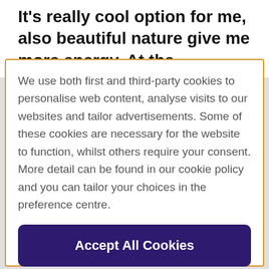It's really cool option for me, also beautiful nature give me more energy. At the
We use both first and third-party cookies to personalise web content, analyse visits to our websites and tailor advertisements. Some of these cookies are necessary for the website to function, whilst others require your consent. More detail can be found in our cookie policy and you can tailor your choices in the preference centre.
Accept All Cookies
Cookies Settings